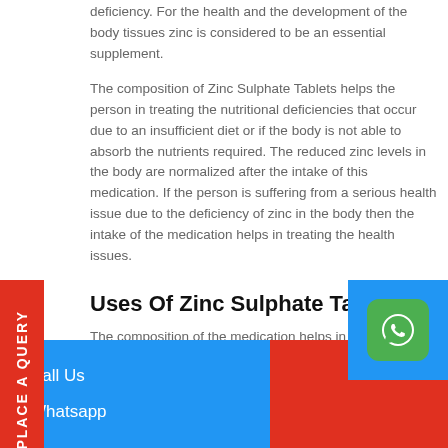deficiency. For the health and the development of the body tissues zinc is considered to be an essential supplement.
The composition of Zinc Sulphate Tablets helps the person in treating the nutritional deficiencies that occur due to an insufficient diet or if the body is not able to absorb the nutrients required. The reduced zinc levels in the body are normalized after the intake of this medication. If the person is suffering from a serious health issue due to the deficiency of zinc in the body then the intake of the medication helps in treating the health issues.
Uses Of Zinc Sulphate Tablets
The composition of the medication helps in treating nutritional deficiencies which occur due to the low of zinc in the body. As a nutritional supplement, the medication helps in treating the deficiencies of the
Call Us
Whatsapp